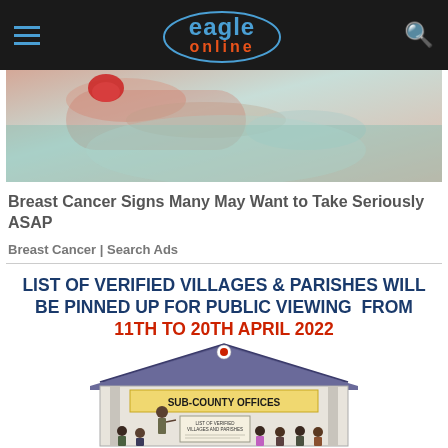Eagle Online
[Figure (photo): Close-up photo of a hand, likely related to a breast cancer advertisement.]
Breast Cancer Signs Many May Want to Take Seriously ASAP
Breast Cancer | Search Ads
LIST OF VERIFIED VILLAGES & PARISHES WILL BE PINNED UP FOR PUBLIC VIEWING FROM 11th to 20th April 2022
[Figure (illustration): Illustration of a Sub-County Offices building with a speaker presenting a 'List of Verified Villages and Parishes' to a seated audience.]